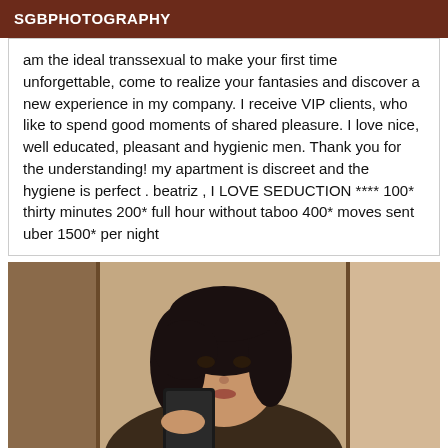SGBPHOTOGRAPHY
am the ideal transsexual to make your first time unforgettable, come to realize your fantasies and discover a new experience in my company. I receive VIP clients, who like to spend good moments of shared pleasure. I love nice, well educated, pleasant and hygienic men. Thank you for the understanding! my apartment is discreet and the hygiene is perfect . beatriz , I LOVE SEDUCTION **** 100* thirty minutes 200* full hour without taboo 400* moves sent uber 1500* per night
[Figure (photo): Mirror selfie photo of a young woman with dark hair holding a black smartphone]